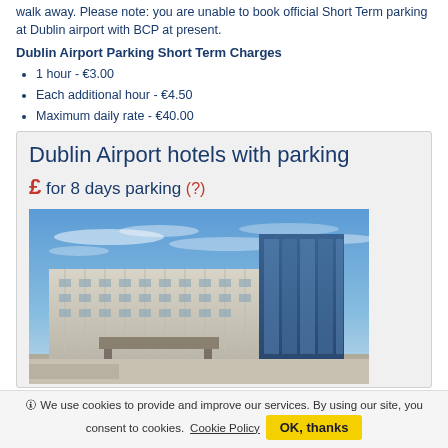walk away. Please note: you are unable to book official Short Term parking at Dublin airport with BCP at present.
Dublin Airport Parking Short Term Charges
1 hour - €3.00
Each additional hour - €4.50
Maximum daily rate - €40.00
Dublin Airport hotels with parking
£ for 8 days parking (?)
[Figure (photo): Photo of a modern hotel building with glass and concrete facade under a blue sky with wispy clouds, likely near Dublin Airport.]
🛈 We use cookies to provide and improve our services. By using our site, you consent to cookies. Cookie Policy  OK, thanks